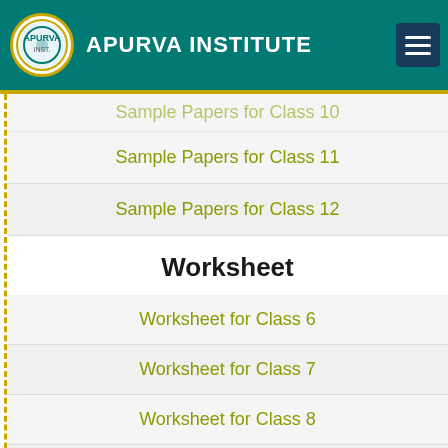APURVA INSTITUTE
Sample Papers for Class 10
Sample Papers for Class 11
Sample Papers for Class 12
Worksheet
Worksheet for Class 6
Worksheet for Class 7
Worksheet for Class 8
Worksheet for Class 9
Worksheet for Class 10
Worksheet for Class 11
Worksheet for Class 12